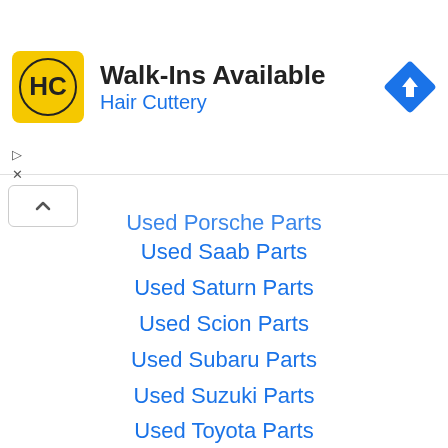[Figure (screenshot): Advertisement banner for Hair Cuttery with yellow HC logo, text 'Walk-Ins Available' and 'Hair Cuttery', and a blue diamond navigation icon on the right]
Used Porsche Parts
Used Saab Parts
Used Saturn Parts
Used Scion Parts
Used Subaru Parts
Used Suzuki Parts
Used Toyota Parts
Used Volkswagen Parts
Used Volvo Parts
Used Yugo Parts